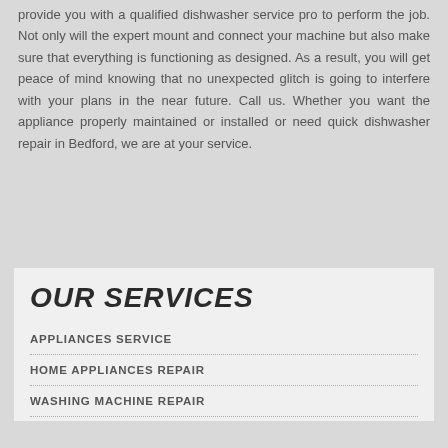provide you with a qualified dishwasher service pro to perform the job. Not only will the expert mount and connect your machine but also make sure that everything is functioning as designed. As a result, you will get peace of mind knowing that no unexpected glitch is going to interfere with your plans in the near future. Call us. Whether you want the appliance properly maintained or installed or need quick dishwasher repair in Bedford, we are at your service.
OUR SERVICES
APPLIANCES SERVICE
HOME APPLIANCES REPAIR
WASHING MACHINE REPAIR